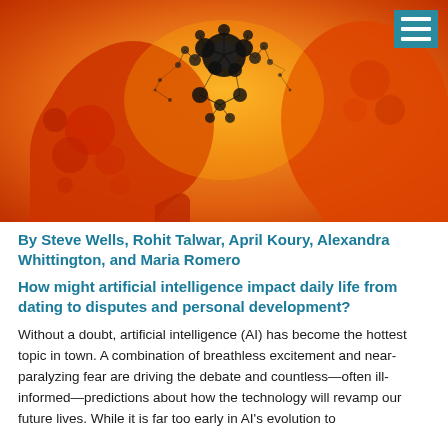[Figure (illustration): Artistic illustration of two human head silhouettes in orange/red tones overlapping, with fractal neural network patterns in black overlaid on the heads, suggesting artificial intelligence and the human brain. A teal menu icon with three horizontal bars appears in the top right corner.]
By Steve Wells, Rohit Talwar, April Koury, Alexandra Whittington, and Maria Romero
How might artificial intelligence impact daily life from dating to disputes and personal development?
Without a doubt, artificial intelligence (AI) has become the hottest topic in town. A combination of breathless excitement and near-paralyzing fear are driving the debate and countless—often ill-informed—predictions about how the technology will revamp our future lives. While it is far too early in AI's evolution to...